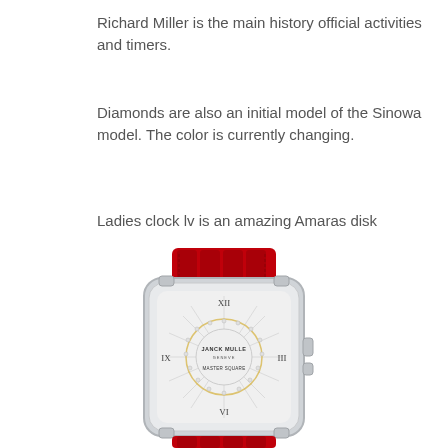Richard Miller is the main history official activities and timers.
Diamonds are also an initial model of the Sinowa model. The color is currently changing.
Ladies clock lv is an amazing Amaras disk
[Figure (photo): A luxury square ladies watch (Franck Muller Master Square) with a silver case, radiant white dial with diamond bezel accent and Roman numeral hour markers, and a red crocodile-texture leather strap.]